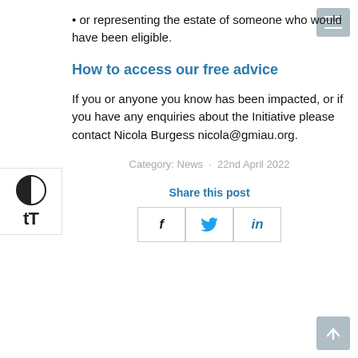· or representing the estate of someone who would have been eligible.
How to access our free advice
If you or anyone you know has been impacted, or if you have any enquiries about the Initiative please contact Nicola Burgess nicola@gmiau.org.
Category: News · 22nd April 2022
Share this post
[Figure (other): Social share buttons: Facebook (f), Twitter (bird icon), LinkedIn (in)]